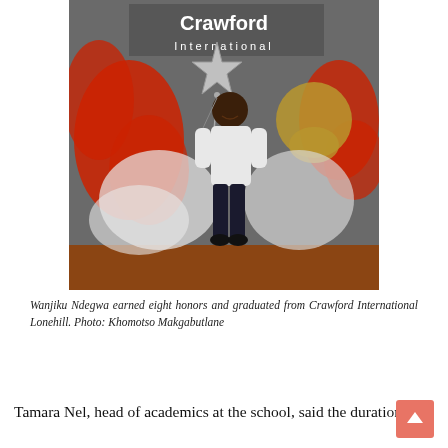[Figure (photo): A young woman stands smiling in front of a Crawford International school mural backdrop, holding a silver star-shaped balloon. She is wearing a white long-sleeve top and dark jeans. The backdrop features the Crawford International school crest with red and white lion imagery.]
Wanjiku Ndegwa earned eight honors and graduated from Crawford International Lonehill. Photo: Khomotso Makgabutlane
Tamara Nel, head of academics at the school, said the duration